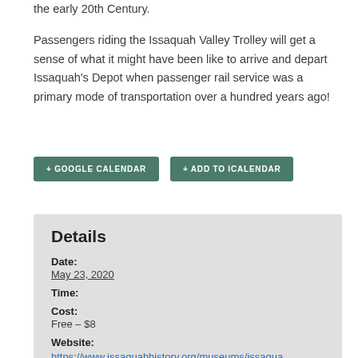the early 20th Century.
Passengers riding the Issaquah Valley Trolley will get a sense of what it might have been like to arrive and depart Issaquah's Depot when passenger rail service was a primary mode of transportation over a hundred years ago!
+ GOOGLE CALENDAR
+ ADD TO ICALENDAR
Details
Date: May 23, 2020
Time:
Cost: Free – $8
Website: https://www.issaquahhistory.org/museums/issaquahvalleytrolley